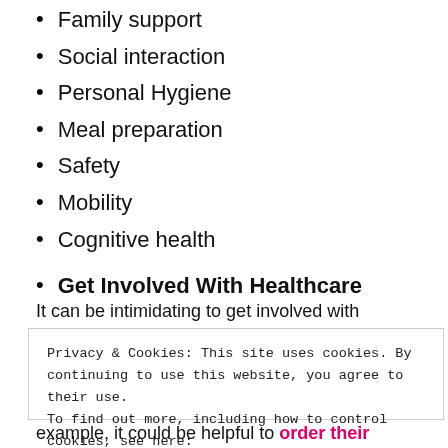Family support
Social interaction
Personal Hygiene
Meal preparation
Safety
Mobility
Cognitive health
Get Involved With Healthcare
It can be intimidating to get involved with somebody else's
Privacy & Cookies: This site uses cookies. By continuing to use this website, you agree to their use.
To find out more, including how to control cookies, see here:
Cookie Policy
Close and accept
example, it could be helpful to order their ostomy care